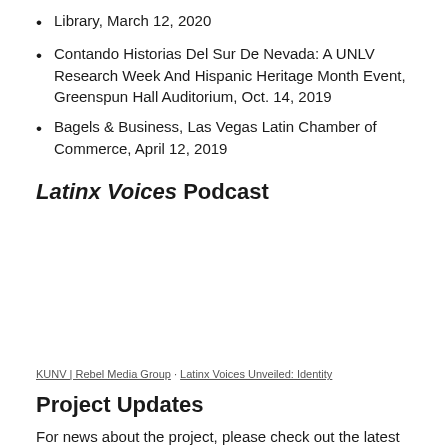Library, March 12, 2020
Contando Historias Del Sur De Nevada: A UNLV Research Week And Hispanic Heritage Month Event, Greenspun Hall Auditorium, Oct. 14, 2019
Bagels & Business, Las Vegas Latin Chamber of Commerce, April 12, 2019
Latinx Voices Podcast
[Figure (other): Embedded podcast player area (blank/white space representing an audio player widget)]
KUNV | Rebel Media Group · Latinx Voices Unveiled: Identity
Project Updates
For news about the project, please check out the latest blog